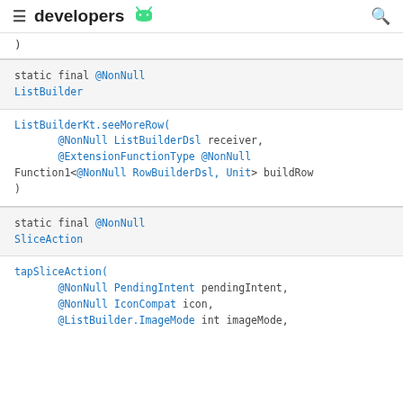developers
)
static final @NonNull ListBuilder
ListBuilderKt.seeMoreRow(
    @NonNull ListBuilderDsl receiver,
    @ExtensionFunctionType @NonNull Function1<@NonNull RowBuilderDsl, Unit> buildRow
)
static final @NonNull SliceAction
tapSliceAction(
    @NonNull PendingIntent pendingIntent,
    @NonNull IconCompat icon,
    @ListBuilder.ImageMode int imageMode,